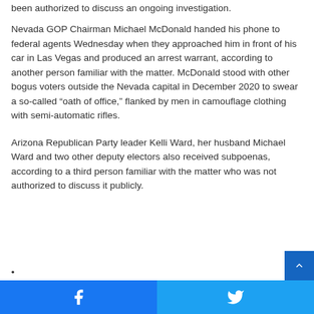been authorized to discuss an ongoing investigation.
Nevada GOP Chairman Michael McDonald handed his phone to federal agents Wednesday when they approached him in front of his car in Las Vegas and produced an arrest warrant, according to another person familiar with the matter. McDonald stood with other bogus voters outside the Nevada capital in December 2020 to swear a so-called “oath of office,” flanked by men in camouflage clothing with semi-automatic rifles.
Arizona Republican Party leader Kelli Ward, her husband Michael Ward and two other deputy electors also received subpoenas, according to a third person familiar with the matter who was not authorized to discuss it publicly.